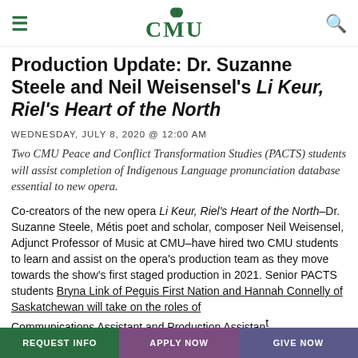CMU logo with hamburger menu and search icon
Production Update: Dr. Suzanne Steele and Neil Weisensel's Li Keur, Riel's Heart of the North
WEDNESDAY, JULY 8, 2020 @ 12:00 AM
Two CMU Peace and Conflict Transformation Studies (PACTS) students will assist completion of Indigenous Language pronunciation database essential to new opera.
Co-creators of the new opera Li Keur, Riel's Heart of the North–Dr. Suzanne Steele, Métis poet and scholar, composer Neil Weisensel, Adjunct Professor of Music at CMU–have hired two CMU students to learn and assist on the opera's production team as they move towards the show's first staged production in 2021. Senior PACTS students Bryna Link of Peguis First Nation and Hannah Connelly of Saskatchewan will take on the roles of Communications Assistant and Production Assistant
REQUEST INFO | APPLY NOW | GIVE NOW